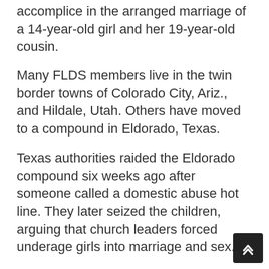accomplice in the arranged marriage of a 14-year-old girl and her 19-year-old cousin.
Many FLDS members live in the twin border towns of Colorado City, Ariz., and Hildale, Utah. Others have moved to a compound in Eldorado, Texas.
Texas authorities raided the Eldorado compound six weeks ago after someone called a domestic abuse hot line. They later seized the children, arguing that church leaders forced underage girls into marriage and sex.
The mainstream Mormon church, The Church of Jesus Christ of Latter-day Saints